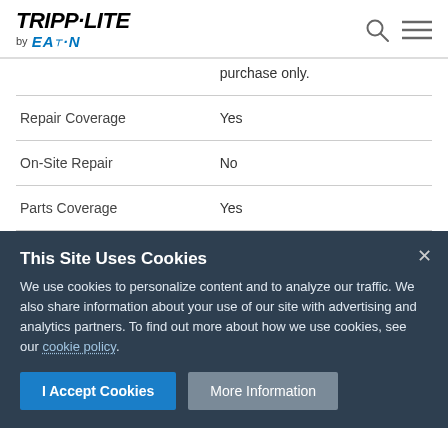TRIPP·LITE by EATON
|  | purchase only. |
| Repair Coverage | Yes |
| On-Site Repair | No |
| Parts Coverage | Yes |
This Site Uses Cookies
We use cookies to personalize content and to analyze our traffic. We also share information about your use of our site with advertising and analytics partners. To find out more about how we use cookies, see our cookie policy.
I Accept Cookies   More Information